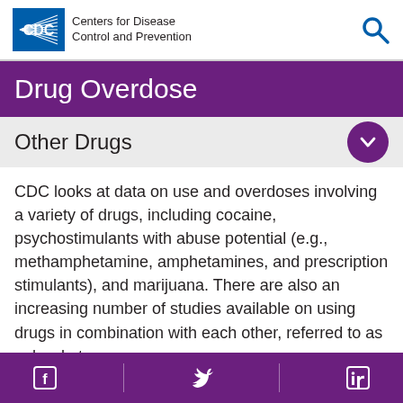CDC Centers for Disease Control and Prevention
Drug Overdose
Other Drugs
CDC looks at data on use and overdoses involving a variety of drugs, including cocaine, psychostimulants with abuse potential (e.g., methamphetamine, amphetamines, and prescription stimulants), and marijuana. There are also an increasing number of studies available on using drugs in combination with each other, referred to as polysubstance use.
Facebook | Twitter | LinkedIn